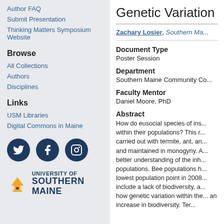Author FAQ
Submit Presentation
Thinking Matters Symposium Website
Browse
All Collections
Authors
Disciplines
Links
USM Libraries
Digital Commons in Maine
[Figure (logo): Twitter, Facebook, and Instagram social media icons as dark navy circles with white icons]
[Figure (logo): University of Southern Maine logo with gold building icon and navy text]
Genetic Variation
Zachary Losier, Southern Ma...
Document Type
Poster Session
Department
Southern Maine Community Co...
Faculty Mentor
Daniel Moore, PhD
Abstract
How do eusocial species of ins... within their populations? This r... carried out with termite, ant, an... and maintained in monogyny. A... better understanding of the inh... populations. Bee populations h... lowest population point in 2008... include a lack of biodiversity, a... how genetic variation within the... an increase in biodiversity. Ter...